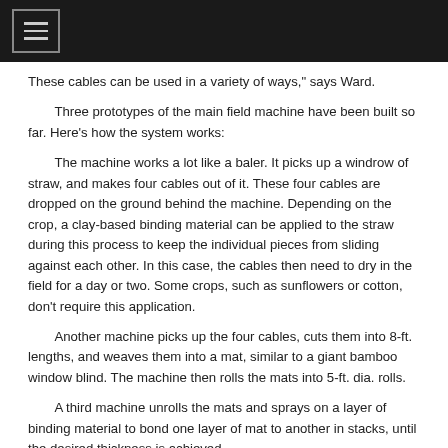These cables can be used in a variety of ways," says Ward.
Three prototypes of the main field machine have been built so far. Here's how the system works:
The machine works a lot like a baler. It picks up a windrow of straw, and makes four cables out of it. These four cables are dropped on the ground behind the machine. Depending on the crop, a clay-based binding material can be applied to the straw during this process to keep the individual pieces from sliding against each other. In this case, the cables then need to dry in the field for a day or two. Some crops, such as sunflowers or cotton, don't require this application.
Another machine picks up the four cables, cuts them into 8-ft. lengths, and weaves them into a mat, similar to a giant bamboo window blind. The machine then rolls the mats into 5-ft. dia. rolls.
A third machine unrolls the mats and sprays on a layer of binding material to bond one layer of mat to another in stacks, until the desired thickness is achieved.
Once the stacks are dry, a fourth machine cuts them to size, based on the design of the building to be constructed. At this point the machine can also...